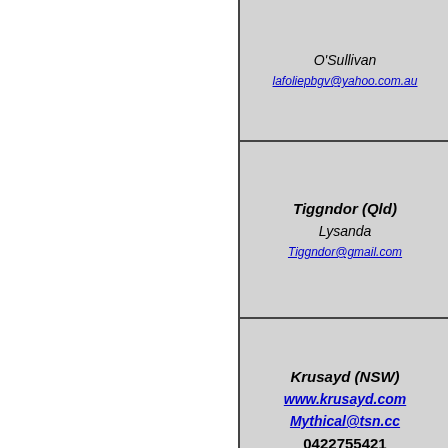| O'Sullivan
lafoliepbgv@yahoo.com.au |
| Tiggndor (Qld)
Lysanda
Tiggndor@gmail.com |
| Krusayd (NSW)
www.krusayd.com
Mythical@tsn.cc
0422755421 |
| C... |